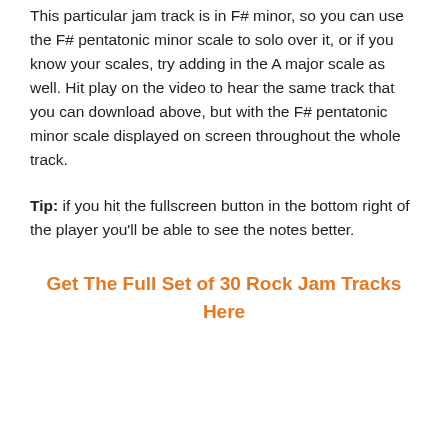This particular jam track is in F# minor, so you can use the F# pentatonic minor scale to solo over it, or if you know your scales, try adding in the A major scale as well. Hit play on the video to hear the same track that you can download above, but with the F# pentatonic minor scale displayed on screen throughout the whole track.
Tip: if you hit the fullscreen button in the bottom right of the player you'll be able to see the notes better.
Get The Full Set of 30 Rock Jam Tracks Here